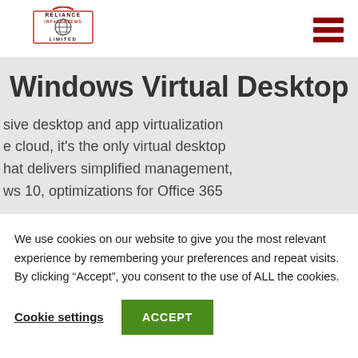[Figure (logo): Reliance Infosystems Limited logo with red arc and globe icon]
Windows Virtual Desktop
sive desktop and app virtualization e cloud, it's the only virtual desktop hat delivers simplified management, ws 10, optimizations for Office 365
We use cookies on our website to give you the most relevant experience by remembering your preferences and repeat visits. By clicking “Accept”, you consent to the use of ALL the cookies.
Cookie settings   ACCEPT